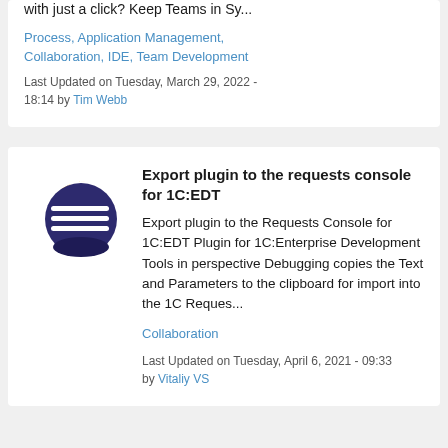with just a click? Keep Teams in Sy...
Process, Application Management, Collaboration, IDE, Team Development
Last Updated on Tuesday, March 29, 2022 - 18:14 by Tim Webb
[Figure (logo): Eclipse-style logo: dark purple circle with horizontal white lines and orange crescent on the left side]
Export plugin to the requests console for 1C:EDT
Export plugin to the Requests Console for 1C:EDT Plugin for 1C:Enterprise Development Tools in perspective Debugging copies the Text and Parameters to the clipboard for import into the 1C Reques...
Collaboration
Last Updated on Tuesday, April 6, 2021 - 09:33 by Vitaliy VS